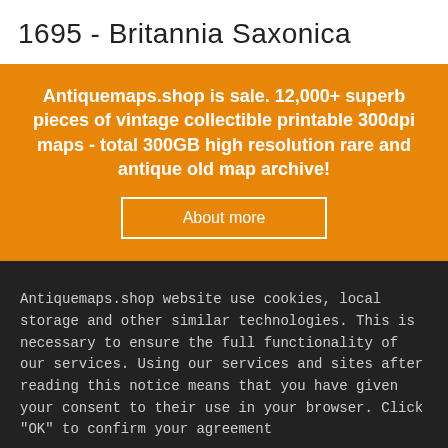1695 - Britannia Saxonica
Antiquemaps.shop is sale. 12,000+ superb pieces of vintage collectible printable 300dpi maps - total 300GB high resolution rare and antique old map archive!
About more
Antiquemaps.shop website use cookies, local storage and other similar technologies. This is necessary to ensure the full functionality of our services. Using our services and sites after reading this notice means that you have given your consent to their use in your browser. Click "OK" to confirm your agreement
Accept
Cancel